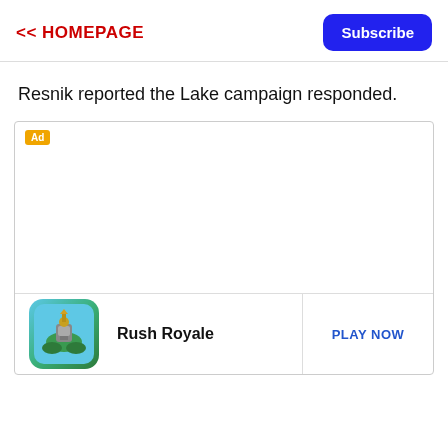<< HOMEPAGE
Subscribe
Resnik reported the Lake campaign responded.
[Figure (other): Advertisement block with 'Ad' badge, game icon for Rush Royale, app name 'Rush Royale', and 'PLAY NOW' call-to-action button]